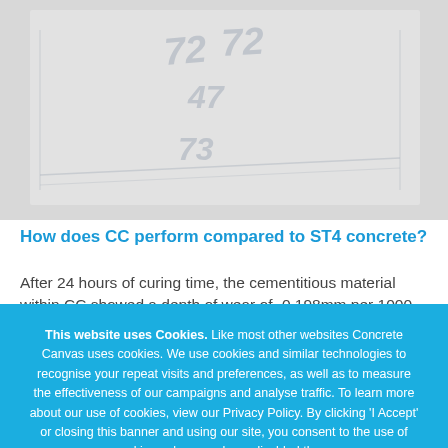[Figure (photo): Grayscale engineering/concrete surface photo with faint numbers visible (72, 47, 73)]
How does CC perform compared to ST4 concrete?
After 24 hours of curing time, the cementitious material within CC showed a depth of wear of -0.198mm per 1000 cycles. Both
This website uses Cookies. Like most other websites Concrete Canvas uses cookies. We use cookies and similar technologies to recognise your repeat visits and preferences, as well as to measure the effectiveness of our campaigns and analyse traffic. To learn more about our use of cookies, view our Privacy Policy. By clicking 'I Accept' or closing this banner and using our site, you consent to the use of cookies unless you have disabled them.
OK
LEARN MORE